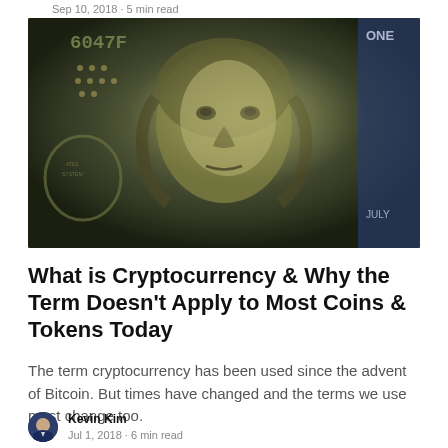Sep 10, 2018 · 5 min read
[Figure (photo): Close-up photograph of Benjamin Franklin's portrait on a US $100 bill, showing the serial number 6047F, the Federal Reserve System seal, and partial text including 'ONE' and 'JULY']
What is Cryptocurrency & Why the Term Doesn't Apply to Most Coins & Tokens Today
The term cryptocurrency has been used since the advent of Bitcoin. But times have changed and the terms we use must change too.
Kevin Kim
Jul 1, 2018 · 6 min read